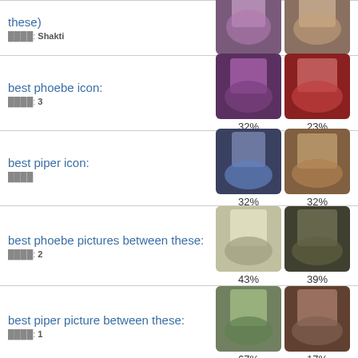these)  ████: Shakti  38%  29%
best phoebe icon:  ████: 3  32%  23%
best piper icon:  ████  32%  32%
best phoebe pictures between these:  ████: 2  43%  39%
best piper picture between these:  ████: 1  67%  17%